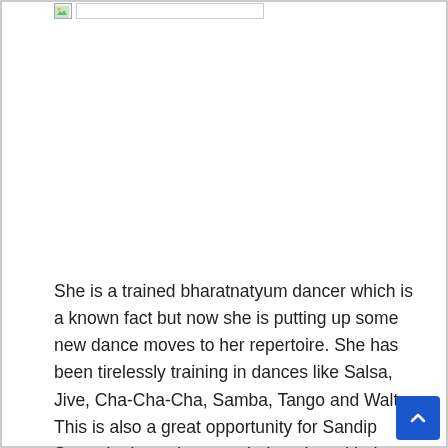[Figure (photo): Broken image placeholder at top of page]
She is a trained bharatnatyum dancer which is a known fact but now she is putting up some new dance moves to her repertoire. She has been tirelessly training in dances like Salsa, Jive, Cha-Cha-Cha, Samba, Tango and Waltz. This is also a great opportunity for Sandip Soparrkar's students to shake a leg with the